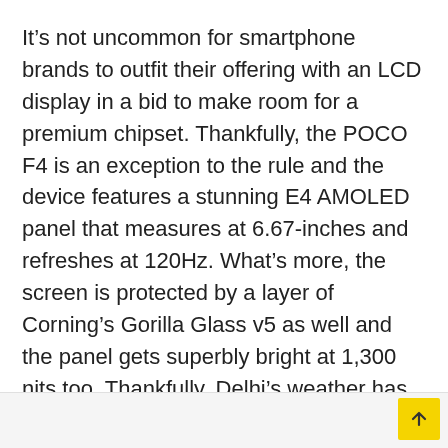It's not uncommon for smartphone brands to outfit their offering with an LCD display in a bid to make room for a premium chipset. Thankfully, the POCO F4 is an exception to the rule and the device features a stunning E4 AMOLED panel that measures at 6.67-inches and refreshes at 120Hz. What's more, the screen is protected by a layer of Corning's Gorilla Glass v5 as well and the panel gets superbly bright at 1,300 nits too. Thankfully, Delhi's weather has been kind and I rarely had to slide the brightness toggle all the way to the right.